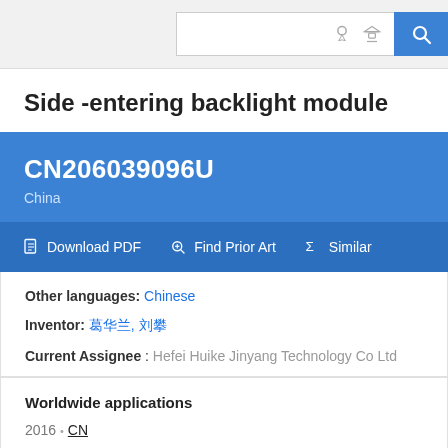Search bar with icons
Side -entering backlight module
CN206039096U
China
Download PDF  Find Prior Art  Similar
Other languages: Chinese
Inventor: 葛华兰, 刘攀
Current Assignee : Hefei Huike Jinyang Technology Co Ltd
Worldwide applications
2016 · CN